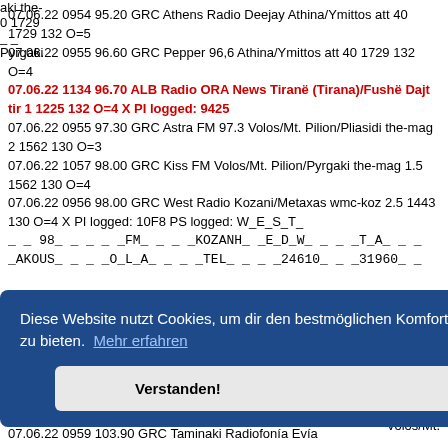07.06.22 0954 95.20 GRC Athens Radio Deejay Athina/Ymittos att 40 1729 132 O=5
07.06.22 0955 96.60 GRC Pepper 96,6 Athina/Ymittos att 40 1729 132 O=4
07.06.22 1134 96.70 ALB Radio ORA News Tiranë (Tirana)/Fushë Dajt tir 1 1225 132 O=4 X PI logged: 9425
07.06.22 0955 97.30 GRC Astra FM 97.3 Volos/Mt. Pilion/Pliasidi the-mag 2 1562 130 O=3
07.06.22 1057 98.00 GRC Kiss FM Volos/Mt. Pilion/Pyrgaki the-mag 1.5 1562 130 O=4
07.06.22 0956 98.00 GRC West Radio Kozani/Metaxas wmc-koz 2.5 1443 130 O=4 X PI logged: 10F8 PS logged: W_E_S_T_ _ _98_ _ _ _ _FM_ _ _ _KOZANH_ _E_D_W_ _ _ _T_A_ _ _ _AKOUS_ _ _ _O_L_A_ _ _ _TEL_ _ _ _24610_ _ _31960_ _
Diese Website nutzt Cookies, um dir den bestmöglichen Komfort bei der Nutzung zu bieten. Mehr erfahren
Verstanden!
07.06.22 0959 103.90 GRC Taminaki Radiofonía Evía Níssoi/Ch...